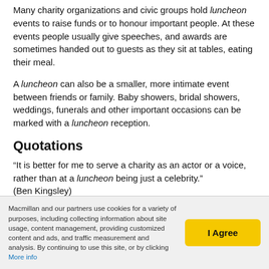Many charity organizations and civic groups hold luncheon events to raise funds or to honour important people. At these events people usually give speeches, and awards are sometimes handed out to guests as they sit at tables, eating their meal.
A luncheon can also be a smaller, more intimate event between friends or family. Baby showers, bridal showers, weddings, funerals and other important occasions can be marked with a luncheon reception.
Quotations
“It is better for me to serve a charity as an actor or a voice, rather than at a luncheon being just a celebrity.” (Ben Kingsley)
“The harmony of the luncheon is achieved by a
Macmillan and our partners use cookies for a variety of purposes, including collecting information about site usage, content management, providing customized content and ads, and traffic measurement and analysis. By continuing to use this site, or by clicking More info